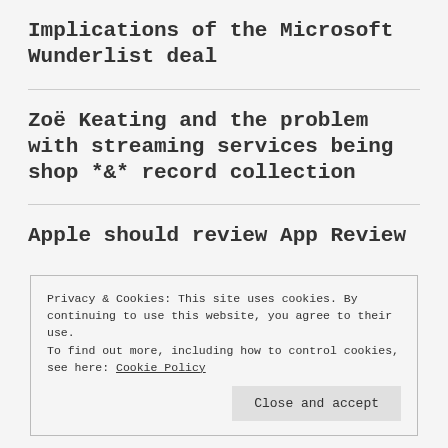Implications of the Microsoft Wunderlist deal
Zoë Keating and the problem with streaming services being shop *&* record collection
Apple should review App Review
Privacy & Cookies: This site uses cookies. By continuing to use this website, you agree to their use.
To find out more, including how to control cookies, see here: Cookie Policy